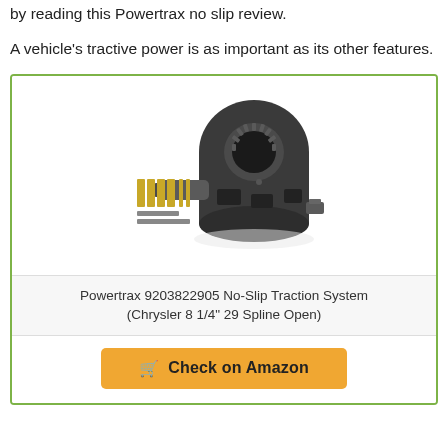by reading this Powertrax no slip review.
A vehicle's tractive power is as important as its other features.
[Figure (photo): Powertrax 9203822905 No-Slip Traction System differential unit with small components shown alongside]
Powertrax 9203822905 No-Slip Traction System (Chrysler 8 1/4" 29 Spline Open)
Check on Amazon